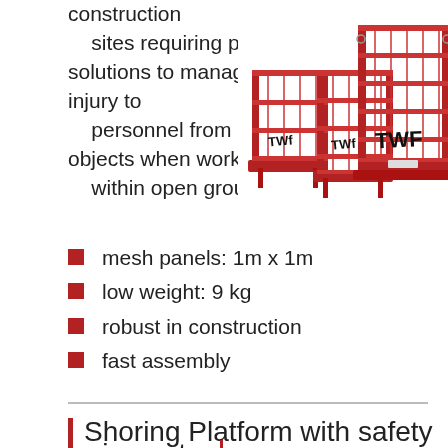construction sites requiring practical solutions to manage the risks of injury to personnel from dropped objects when working within open ground excavations.
[Figure (photo): Red mesh safety panels/barriers (TWF branded) for construction excavation protection, shown as modular interlocking fence-like units with base plates.]
mesh panels: 1m x 1m
low weight: 9 kg
robust in construction
fast assembly
Shoring Platform with safety swing gate